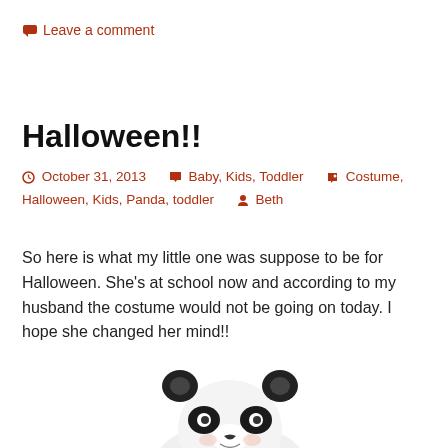Leave a comment
Halloween!!
October 31, 2013   Baby, Kids, Toddler   Costume, Halloween, Kids, Panda, toddler   Beth
So here is what my little one was suppose to be for Halloween. She's at school now and according to my husband the costume would not be going on today. I hope she changed her mind!!
[Figure (photo): A toddler wearing a panda costume hat/hood, smiling, white fluffy costume with black panda ears and markings]